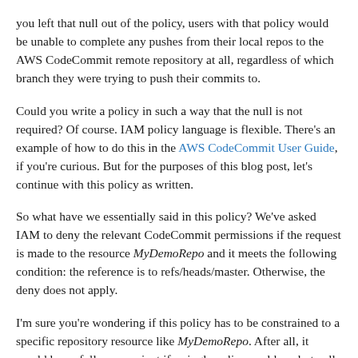you left that null out of the policy, users with that policy would be unable to complete any pushes from their local repos to the AWS CodeCommit remote repository at all, regardless of which branch they were trying to push their commits to.
Could you write a policy in such a way that the null is not required? Of course. IAM policy language is flexible. There's an example of how to do this in the AWS CodeCommit User Guide, if you're curious. But for the purposes of this blog post, let's continue with this policy as written.
So what have we essentially said in this policy? We've asked IAM to deny the relevant CodeCommit permissions if the request is made to the resource MyDemoRepo and it meets the following condition: the reference is to refs/heads/master. Otherwise, the deny does not apply.
I'm sure you're wondering if this policy has to be constrained to a specific repository resource like MyDemoRepo. After all, it would be awfully convenient if a single policy could apply to all branches in any repository in an AWS account, particularly since the default